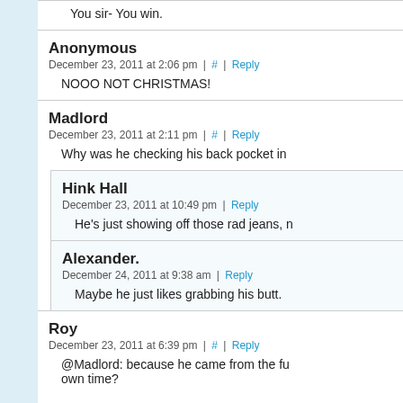You sir- You win.
Anonymous
December 23, 2011 at 2:06 pm | # | Reply
NOOO NOT CHRISTMAS!
Madlord
December 23, 2011 at 2:11 pm | # | Reply
Why was he checking his back pocket in
Hink Hall
December 23, 2011 at 10:49 pm | Reply
He's just showing off those rad jeans, n
Alexander.
December 24, 2011 at 9:38 am | Reply
Maybe he just likes grabbing his butt.
Roy
December 23, 2011 at 6:39 pm | # | Reply
@Madlord: because he came from the fu own time?